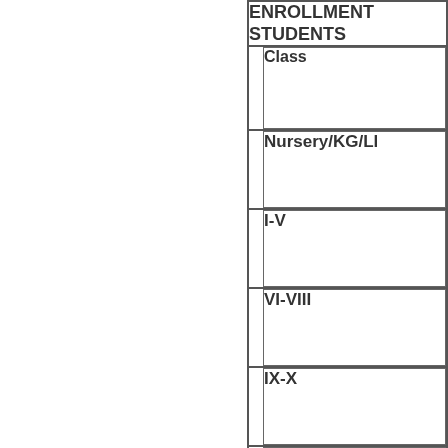| ENROLLMENT STUDENTS | Class | Nursery/KG/LKG | I-V | VI-VIII | IX-X | XI-XII | Labs and Rooms |
| --- | --- | --- | --- | --- | --- | --- | --- |